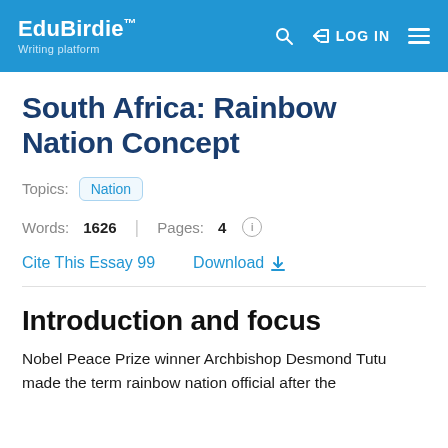EduBirdie™ Writing platform | LOG IN
South Africa: Rainbow Nation Concept
Topics: Nation
Words: 1626 | Pages: 4
Cite This Essay 99   Download
Introduction and focus
Nobel Peace Prize winner Archbishop Desmond Tutu made the term rainbow nation official after the